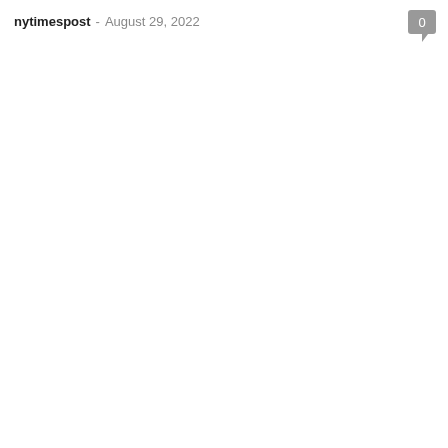nytimespost - August 29, 2022
[Figure (other): Comment count badge showing '0' in a grey speech bubble icon, top-right corner]